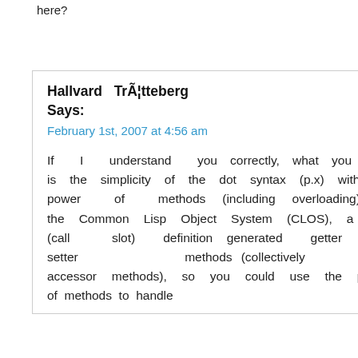here?
Hallvard TrÃ¦tteberg Says:
February 1st, 2007 at 4:56 am
If I understand you correctly, what you want is the simplicity of the dot syntax (p.x) with the power of methods (including overloading). In the Common Lisp Object System (CLOS), a field (call slot) definition generated getter and setter methods (collectively called accessor methods), so you could use the power of methods to handle